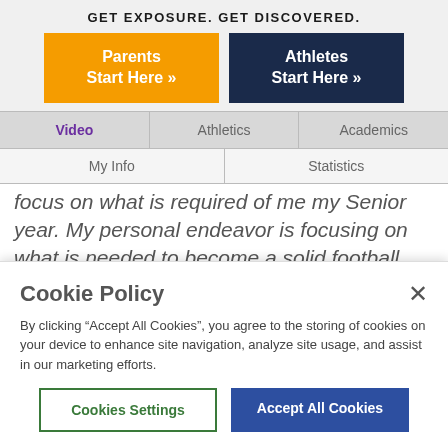GET EXPOSURE. GET DISCOVERED.
Parents Start Here »
Athletes Start Here »
Video | Athletics | Academics | My Info | Statistics
focus on what is required of me my Senior year. My personal endeavor is focusing on what is needed to become a solid football player in the collegiate level.
I have had the opportunity to be part of a great program that has taught me how to be a young man. I am fortunate to
Cookie Policy
By clicking “Accept All Cookies”, you agree to the storing of cookies on your device to enhance site navigation, analyze site usage, and assist in our marketing efforts.
Cookies Settings
Accept All Cookies